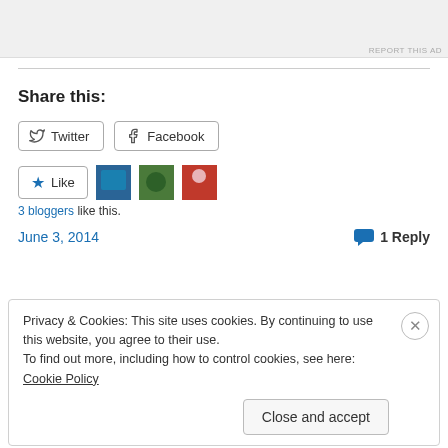[Figure (photo): Top section showing partial profile images/avatars on a light grey background, with 'REPORT THIS AD' text at bottom right]
Share this:
Twitter   Facebook
Like   3 bloggers like this.
June 3, 2014
1 Reply
Privacy & Cookies: This site uses cookies. By continuing to use this website, you agree to their use.
To find out more, including how to control cookies, see here: Cookie Policy
Close and accept